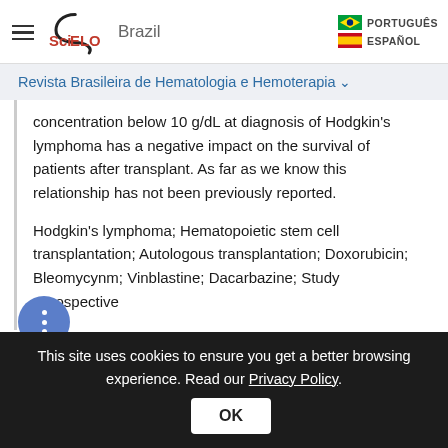SciELO Brazil | PORTUGUÊS | ESPAÑOL
Revista Brasileira de Hematologia e Hemoterapia
concentration below 10 g/dL at diagnosis of Hodgkin's lymphoma has a negative impact on the survival of patients after transplant. As far as we know this relationship has not been previously reported.
Hodgkin's lymphoma; Hematopoietic stem cell transplantation; Autologous transplantation; Doxorubicin; Bleomycynm; Vinblastine; Dacarbazine; Study retrospective
This site uses cookies to ensure you get a better browsing experience. Read our Privacy Policy.